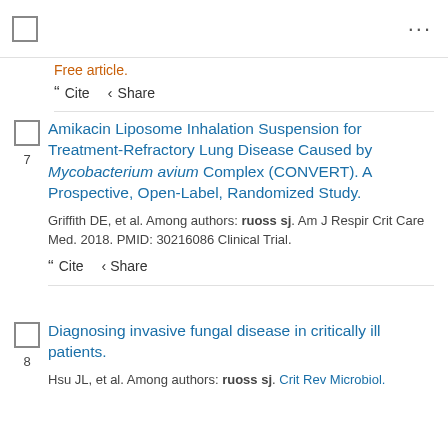Free article.
Cite  Share
Amikacin Liposome Inhalation Suspension for Treatment-Refractory Lung Disease Caused by Mycobacterium avium Complex (CONVERT). A Prospective, Open-Label, Randomized Study.
Griffith DE, et al. Among authors: ruoss sj. Am J Respir Crit Care Med. 2018. PMID: 30216086 Clinical Trial.
Cite  Share
Diagnosing invasive fungal disease in critically ill patients.
Hsu JL, et al. Among authors: ruoss sj. Crit Rev Microbiol.